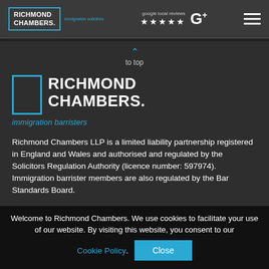RICHMOND CHAMBERS. immigration solicitors | google local reviews ★★★★★
[Figure (logo): Richmond Chambers logo with cyan border box, white bold text RICHMOND CHAMBERS., and italic immigration barristers subtitle]
to top
Richmond Chambers LLP is a limited liability partnership registered in England and Wales and authorised and regulated by the Solicitors Regulation Authority (licence number: 597974). Immigration barrister members are also regulated by the Bar Standards Board.
Welcome to Richmond Chambers. We use cookies to facilitate your use of our website. By visiting this website, you consent to our Cookie Policy.